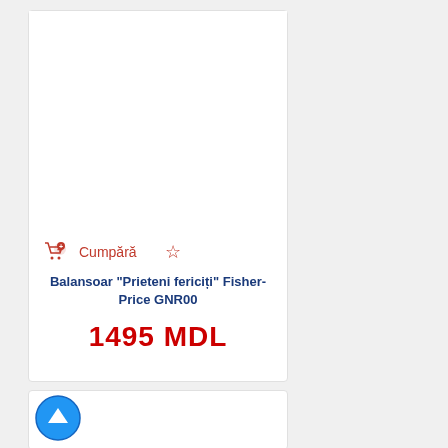[Figure (screenshot): Product card with white background showing empty image area, Cumpără button with shopping cart icon, star/wishlist icon, product title, and price]
Cumpără
Balansoar "Prieteni fericiți" Fisher-Price GNR00
1495 MDL
[Figure (screenshot): Bottom card with scroll-to-top circular arrow button]